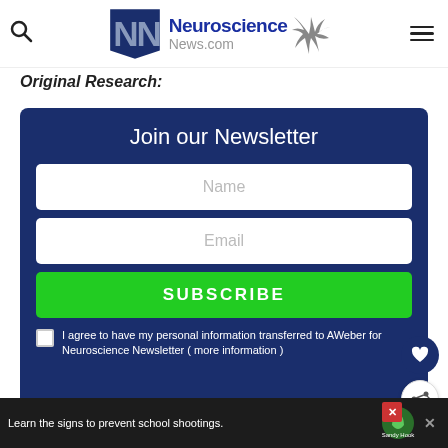Neuroscience News.com
Original Research:
Join our Newsletter
Name
Email
SUBSCRIBE
I agree to have my personal information transferred to AWeber for Neuroscience Newsletter ( more information )
Learn the signs to prevent school shootings.